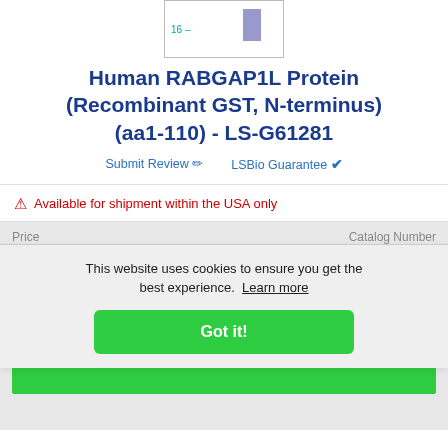[Figure (other): Partial gel electrophoresis image showing a band around 16 kDa marker with a purple/blue bar in the lane]
Human RABGAP1L Protein (Recombinant GST, N-terminus) (aa1-110) - LS-G61281
Submit Review ✏  LSBio Guarantee ✔
⚠ Available for shipment within the USA only
| Price | Catalog Number |
| --- | --- |
| Each | ...61-10 |
Unit Size   Quantity
This website uses cookies to ensure you get the best experience. Learn more
Got it!